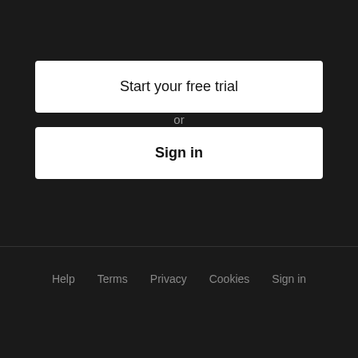Start your free trial
or
Sign in
Help   Terms   Privacy   Cookies   Sign in